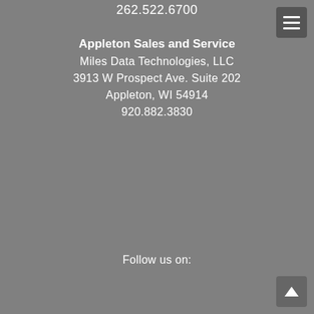262.522.6700
Appleton Sales and Service
Miles Data Technologies, LLC
3913 W Prospect Ave. Suite 202
Appleton, WI 54914
920.882.3830
Follow us on: